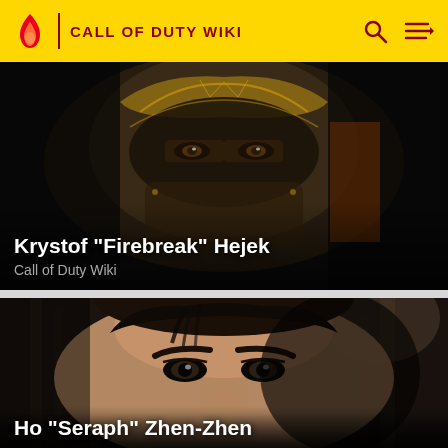CALL OF DUTY WIKI
[Figure (photo): Close-up of a character wearing an ornate golden/bronze helmet with intricate designs, eyes visible through the visor — Krystof Firebreak Hejek from Call of Duty Wiki]
Krystof "Firebreak" Hejek
Call of Duty Wiki
[Figure (photo): Close-up face shot of a young Asian male video game character with dark hair, intense eyes, and realistic skin rendering — partially cut off at bottom]
Ho "Seraph" Zhen-Zhen